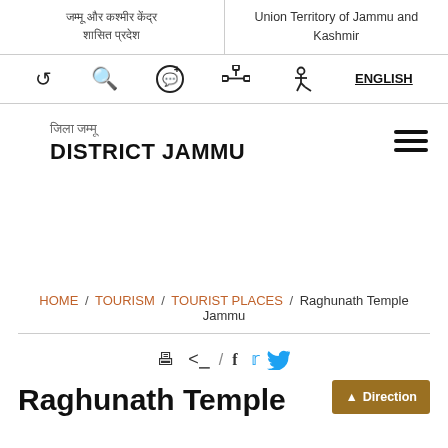जम्मू और कश्मीर केंद्र शासित प्रदेश | Union Territory of Jammu and Kashmir
[Figure (screenshot): Navigation bar with icons: back arrow, search, chat bubble with plus, org chart/sitemap, accessibility/wheelchair, and ENGLISH language selector]
जिला जम्मू / DISTRICT JAMMU
HOME / TOURISM / TOURIST PLACES / Raghunath Temple Jammu
[Figure (infographic): Share/social bar with print icon, share icon, slash, Facebook icon, Twitter icon]
Raghunath Temple